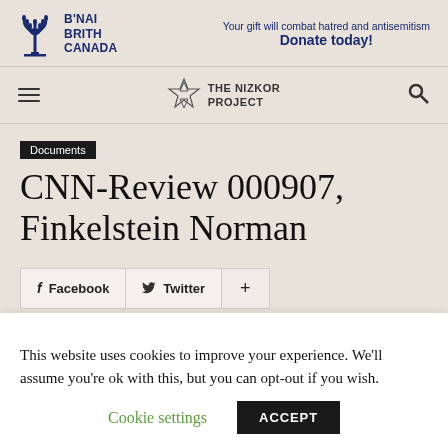[Figure (logo): B'nai Brith Canada logo with menorah icon and text, alongside donation call-to-action: 'Your gift will combat hatred and antisemitism / Donate today!']
[Figure (logo): The Nizkor Project logo with Star of David and navigation icons (hamburger menu and search)]
Documents
CNN-Review 000907, Finkelstein Norman
Facebook  Twitter  +
This website uses cookies to improve your experience. We'll assume you're ok with this, but you can opt-out if you wish.
Cookie settings   ACCEPT